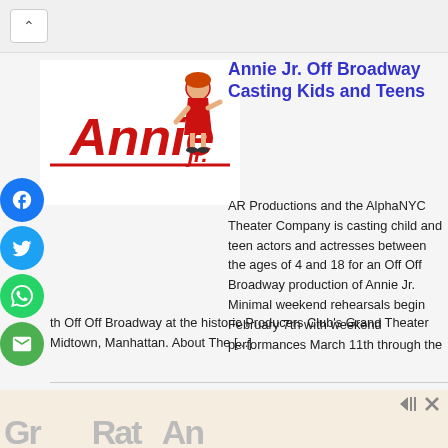[Figure (screenshot): Browser back button / navigation chrome at the top of a mobile web page]
[Figure (logo): Annie Jr. musical logo — red text with cartoon girl character]
Annie Jr. Off Broadway Casting Kids and Teens
AR Productions and the AlphaNYC Theater Company is casting child and teen actors and actresses between the ages of 4 and 18 for an Off Off Broadway production of Annie Jr. Minimal weekend rehearsals begin February 7th with weekend performances March 11th through the th Off Off Broadway at the historic Producers Club's Grand Theater Midtown, Manhattan. About The [...]
[Figure (infographic): Social share buttons: Facebook (blue circle), Twitter (blue circle), WhatsApp (green circle), Email (green circle)]
[Figure (other): Advertisement banner at the bottom with partially visible large text]